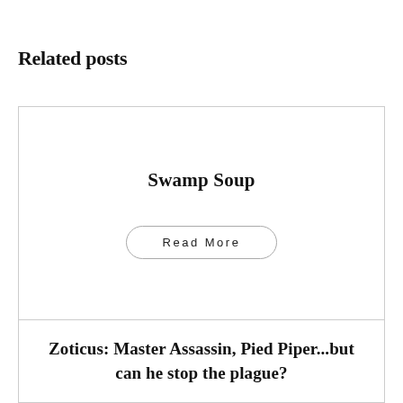Related posts
Swamp Soup
Read More
Zoticus: Master Assassin, Pied Piper...but can he stop the plague?